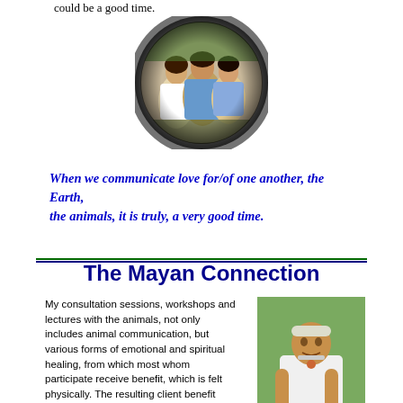could be a good time.
[Figure (photo): Circular vignette photo of three people outdoors, appearing to be at a gathering or event.]
When we communicate love for/of one another, the Earth, the animals, it is truly, a very good time.
The Mayan Connection
My consultation sessions, workshops and lectures with the animals, not only includes animal communication, but various forms of emotional and spiritual healing, from which most whom participate receive benefit, which is felt physically. The resulting client benefit does not come from me, it comes through me, from the clients themselves. I learned the techniques that I teach and utilize from Mayan Elder and Record Keeper, Hunbatz Men. In 1995 I
[Figure (photo): Photo of an elderly indigenous man in white traditional clothing, seated outdoors.]